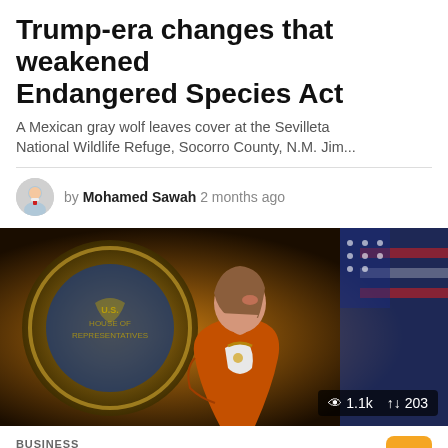Trump-era changes that weakened Endangered Species Act
A Mexican gray wolf leaves cover at the Sevilleta National Wildlife Refuge, Socorro County, N.M. Jim...
by Mohamed Sawah 2 months ago
[Figure (photo): Photo of Nancy Pelosi in orange jacket standing in front of the US House seal and an American flag. Stats overlay: 1.1k views, 203 shares.]
BUSINESS
Pelosi says Democrats are mulling plans to protect abortion access...